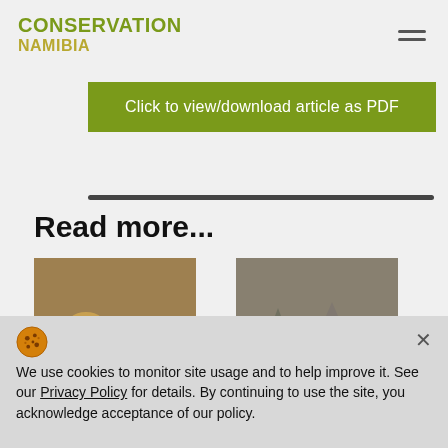CONSERVATION NAMIBIA
Click to view/download article as PDF
Read more...
[Figure (photo): A leopard resting in dry grass savanna]
Carnivores at Risk
[Figure (photo): Two rhinoceroses standing in dry scrubland]
Combatting Wildlife Crime
We use cookies to monitor site usage and to help improve it. See our Privacy Policy for details. By continuing to use the site, you acknowledge acceptance of our policy.